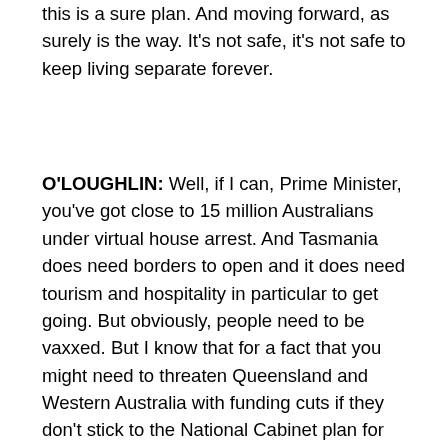this is a sure plan. And moving forward, as surely is the way. It's not safe, it's not safe to keep living separate forever.
O'LOUGHLIN: Well, if I can, Prime Minister, you've got close to 15 million Australians under virtual house arrest. And Tasmania does need borders to open and it does need tourism and hospitality in particular to get going. But obviously, people need to be vaxxed. But I know that for a fact that you might need to threaten Queensland and Western Australia with funding cuts if they don't stick to the National Cabinet plan for reopening. And they've pretty well stated that.